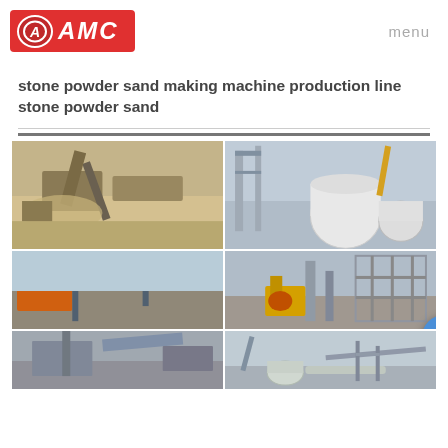[Figure (logo): AMC logo: red rectangle with oval A icon and bold italic AMC text in white]
menu
stone powder sand making machine production line stone powder sand
[Figure (photo): Grid of 6 photographs showing stone powder sand making machine production line facilities with industrial machinery, conveyor belts, tanks, and construction equipment]